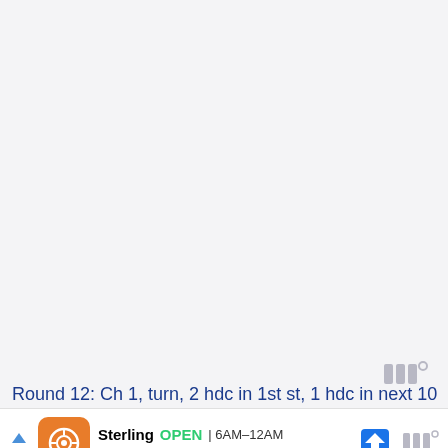Round 12: Ch 1, turn, 2 hdc in 1st st, 1 hdc in next 10
[Figure (screenshot): Advertisement bar for Sterling showing logo, OPEN status, hours 6AM-12AM, address 45131 Columbia Place Sterling, and navigation icon. Also shows Yelp-style logo icon and watermark symbols at right.]
Watermark/logo symbols (|||°) at bottom right